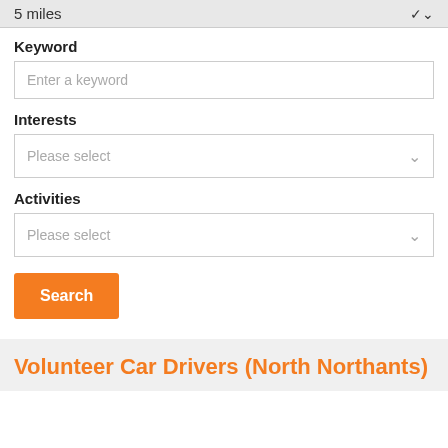5 miles
Keyword
Enter a keyword
Interests
Please select
Activities
Please select
Search
Volunteer Car Drivers (North Northants)